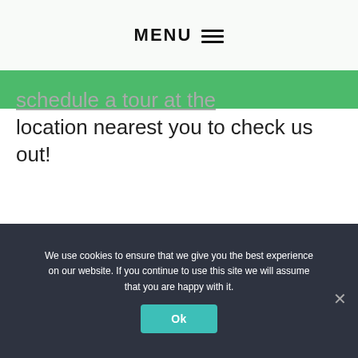MENU ☰
schedule a tour at the location nearest you to check us out!
Published On: April 1, 2022
We use cookies to ensure that we give you the best experience on our website. If you continue to use this site we will assume that you are happy with it.